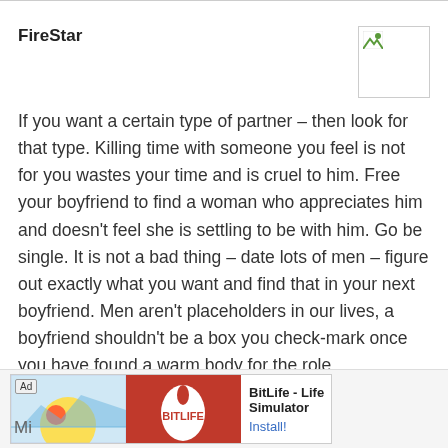FireStar
If you want a certain type of partner – then look for that type. Killing time with someone you feel is not for you wastes your time and is cruel to him. Free your boyfriend to find a woman who appreciates him and doesn't feel she is settling to be with him. Go be single. It is not a bad thing – date lots of men – figure out exactly what you want and find that in your next boyfriend. Men aren't placeholders in our lives, a boyfriend shouldn't be a box you check-mark once you have found a warm body for the role.
REPLY Link
[Figure (screenshot): Advertisement banner for BitLife - Life Simulator app with Install button]